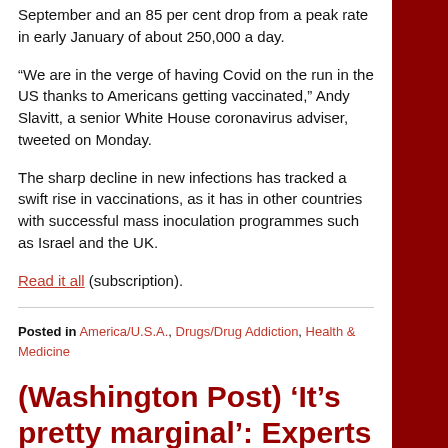September and an 85 per cent drop from a peak rate in early January of about 250,000 a day.
“We are in the verge of having Covid on the run in the US thanks to Americans getting vaccinated,” Andy Slavitt, a senior White House coronavirus adviser, tweeted on Monday.
The sharp decline in new infections has tracked a swift rise in vaccinations, as it has in other countries with successful mass inoculation programmes such as Israel and the UK.
Read it all (subscription).
Posted in America/U.S.A., Drugs/Drug Addiction, Health & Medicine
(Washington Post) ‘It’s pretty marginal’: Experts say Biden’s vaccine waiver proposal unlikely to boost supply quickly